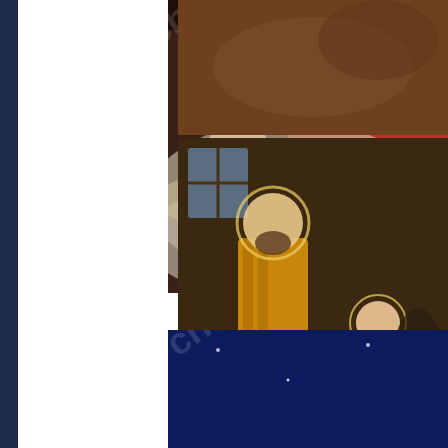[Figure (illustration): Religious painting showing angels and a figure in red robes on clouds, partially cropped at top]
[Figure (illustration): Small partial image in top right corner showing dark textured pattern]
[Figure (illustration): Nativity scene painting showing Joseph and Mary looking at baby Jesus in a manger with glowing light, right side]
[Figure (illustration): Three wise men kneeling and looking up at a bright star in the night sky]
Nativity And Religious – Assorted Differen
Reindeer Ima